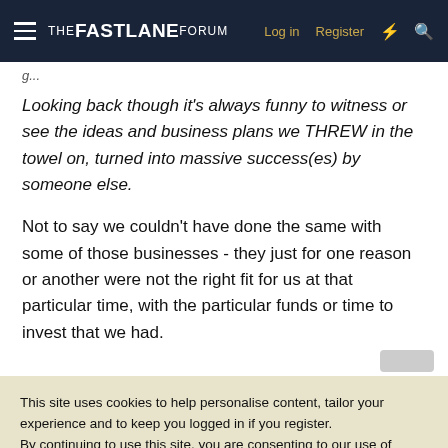THE FASTLANE FORUM | Log in | Register
Looking back though it's always funny to witness or see the ideas and business plans we THREW in the towel on, turned into massive success(es) by someone else.
Not to say we couldn't have done the same with some of those businesses - they just for one reason or another were not the right fit for us at that particular time, with the particular funds or time to invest that we had.
This site uses cookies to help personalise content, tailor your experience and to keep you logged in if you register.
By continuing to use this site, you are consenting to our use of cookies.